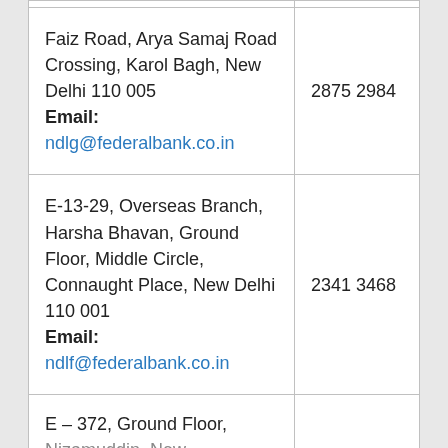| Address | Phone |
| --- | --- |
| Faiz Road, Arya Samaj Road Crossing, Karol Bagh, New Delhi 110 005
Email: ndlg@federalbank.co.in | 2875 2984 |
| E-13-29, Overseas Branch, Harsha Bhavan, Ground Floor, Middle Circle, Connaught Place, New Delhi 110 001
Email: ndlf@federalbank.co.in | 2341 3468 |
| E – 372, Ground Floor, Nizamuddin, New... |  |